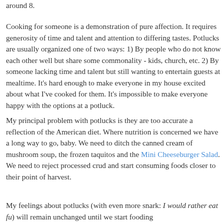around 8.
Cooking for someone is a demonstration of pure affection. It requires generosity of time and talent and attention to differing tastes. Potlucks are usually organized one of two ways: 1) By people who do not know each other well but share some commonality - kids, church, etc. 2) By someone lacking time and talent but still wanting to entertain guests at mealtime. It's hard enough to make everyone in my house excited about what I've cooked for them. It's impossible to make everyone happy with the options at a potluck.
My principal problem with potlucks is they are too accurate a reflection of the American diet. Where nutrition is concerned we have a long way to go, baby. We need to ditch the canned cream of mushroom soup, the frozen taquitos and the Mini Cheeseburger Salad. We need to reject processed crud and start consuming foods closer to their point of harvest.
My feelings about potlucks (with even more snark: I would rather eat fu) will remain unchanged until we start fooding